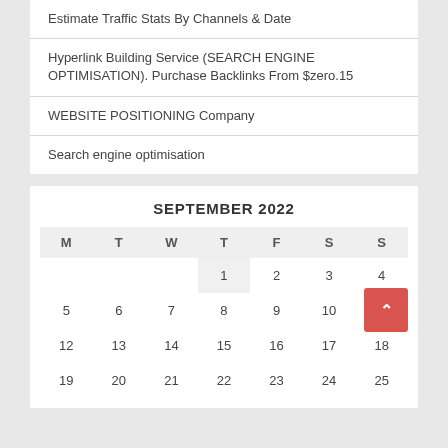Estimate Traffic Stats By Channels & Date
Hyperlink Building Service (SEARCH ENGINE OPTIMISATION). Purchase Backlinks From $zero.15
WEBSITE POSITIONING Company
Search engine optimisation
| M | T | W | T | F | S | S |
| --- | --- | --- | --- | --- | --- | --- |
|  |  |  | 1 | 2 | 3 | 4 |
| 5 | 6 | 7 | 8 | 9 | 10 | 11 |
| 12 | 13 | 14 | 15 | 16 | 17 | 18 |
| 19 | 20 | 21 | 22 | 23 | 24 | 25 |